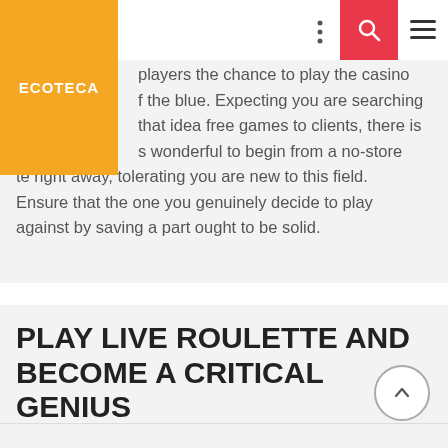ECOTECA
players the chance to play the casino of the blue. Expecting you are searching that idea free games to clients, there is s wonderful to begin from a no-store te right away, tolerating you are new to this field. Ensure that the one you genuinely decide to play against by saving a part ought to be solid.
PLAY LIVE ROULETTE AND BECOME A CRITICAL GENIUS